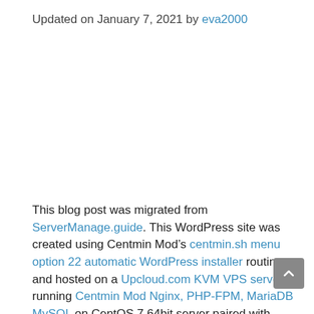Updated on January 7, 2021 by eva2000
This blog post was migrated from ServerManage.guide. This WordPress site was created using Centmin Mod’s centmin.sh menu option 22 automatic WordPress installer routine and hosted on a Upcloud.com KVM VPS server running Centmin Mod Nginx, PHP-FPM, MariaDB MySQL on CentOS 7 64bit server paired with Cloudflare free plan.